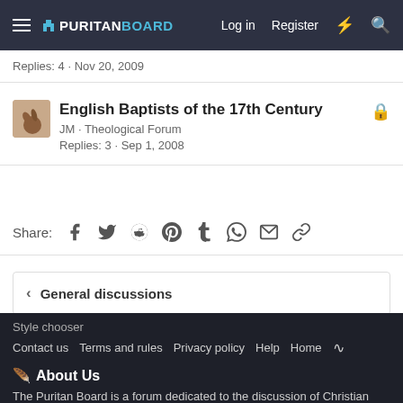PURITAN BOARD — Log in  Register
Replies: 4 · Nov 20, 2009
English Baptists of the 17th Century
JM · Theological Forum
Replies: 3 · Sep 1, 2008
Share:
< General discussions
Style chooser
Contact us  Terms and rules  Privacy policy  Help  Home
🪶 About Us
The Puritan Board is a forum dedicated to the discussion of Christian theology in a Confessionally Reformed context. We are dedicated to historic Confessional